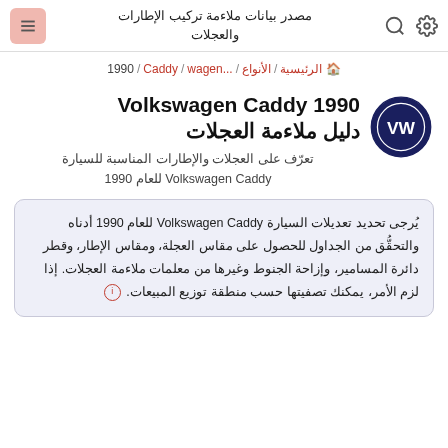مصدر بيانات ملاءمة تركيب الإطارات والعجلات
الرئيسية / الأنواع / ...wagen / Caddy / 1990
Volkswagen Caddy 1990 دليل ملاءمة العجلات
تعرّف على العجلات والإطارات المناسبة للسيارة Volkswagen Caddy للعام 1990
يُرجى تحديد تعديلات السيارة Volkswagen Caddy للعام 1990 أدناه والتحقُّق من الجداول للحصول على مقاس العجلة، ومقاس الإطار، وقطر دائرة المسامير، وإزاحة الجنوط وغيرها من معلمات ملاءمة العجلات. إذا لزم الأمر، يمكنك تصفيتها حسب منطقة توزيع المبيعات. ⓘ